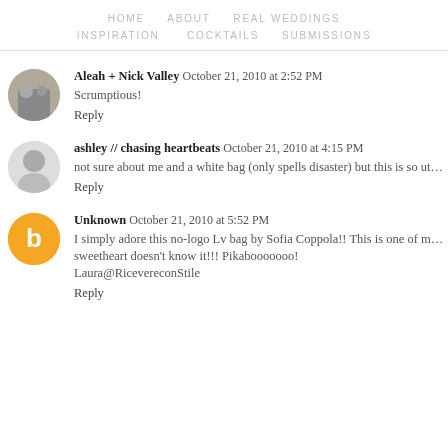HOME   ABOUT   REAL WEDDINGS
INSPIRATION   COCKTAILS   SUBMISSIONS
Aleah + Nick Valley  October 21, 2010 at 2:52 PM
Scrumptious!
Reply
ashley // chasing heartbeats  October 21, 2010 at 4:15 PM
not sure about me and a white bag (only spells disaster) but this is so utterly chic! Th
Reply
Unknown  October 21, 2010 at 5:52 PM
I simply adore this no-logo Lv bag by Sofia Coppola!! This is one of my next tar
sweetheart doesn't know it!!! Pikabooooooo!
Laura@RicevereconStile
Reply